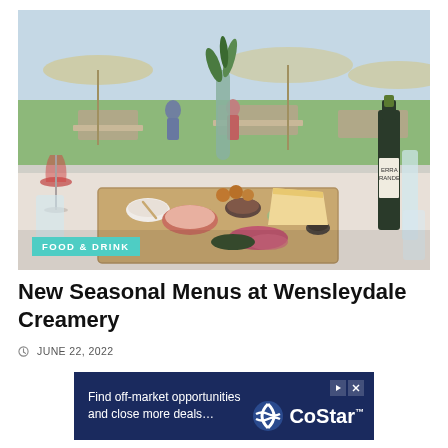[Figure (photo): A wooden serving board with various small bowls of food including cheese, meats, pickled vegetables, bread, and condiments. A vase with flowers, wine glasses, and a wine bottle are visible. In the background, an outdoor seating area with benches is visible through large windows.]
FOOD & DRINK
New Seasonal Menus at Wensleydale Creamery
JUNE 22, 2022
[Figure (other): CoStar advertisement banner: Find off-market opportunities and close more deals...]